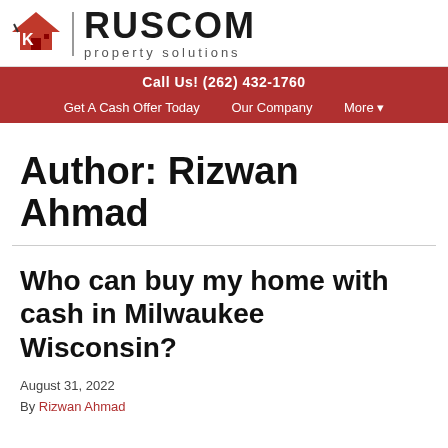[Figure (logo): RusCom Property Solutions logo with house/roof icon and company name]
Call Us! (262) 432-1760 | Get A Cash Offer Today | Our Company | More
Author: Rizwan Ahmad
Who can buy my home with cash in Milwaukee Wisconsin?
August 31, 2022
By Rizwan Ahmad